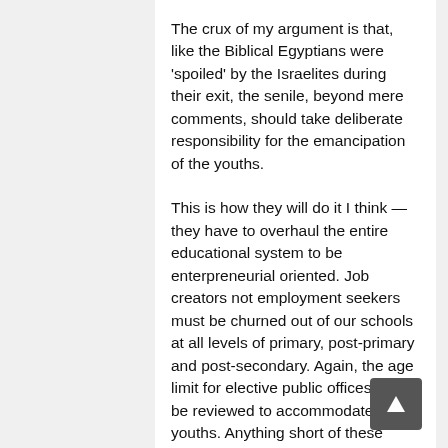The crux of my argument is that, like the Biblical Egyptians were 'spoiled' by the Israelites during their exit, the senile, beyond mere comments, should take deliberate responsibility for the emancipation of the youths.
This is how they will do it I think —they have to overhaul the entire educational system to be enterpreneurial oriented. Job creators not employment seekers must be churned out of our schools at all levels of primary, post-primary and post-secondary. Again, the age limit for elective public offices must be reviewed to accommodate the youths. Anything short of these proposals are bogus and dishonest.
If the senile refuses to initiate this